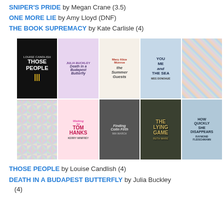SNIPER'S PRIDE by Megan Crane (3.5)
ONE MORE LIE by Amy Lloyd (DNF)
THE BOOK SUPREMACY by Kate Carlisle (4)
[Figure (photo): A 2x5 grid of book covers including: Those People by Louise Candlish, Death in a Budapest Butterfly by Julia Buckley, The Summer Guests by Mary Alice Monroe, You Me and the Sea by Meg Donohue, a mosaic pattern cover, another mosaic cover, Waiting for Tom Hanks by Kerry Winfrey, Finding Colin Firth by Mia March, The Lying Game by Ruth Ware, and How Quickly She Disappears by Raymond Fleischmann.]
THOSE PEOPLE by Louise Candlish (4)
DEATH IN A BUDAPEST BUTTERFLY by Julia Buckley (4)